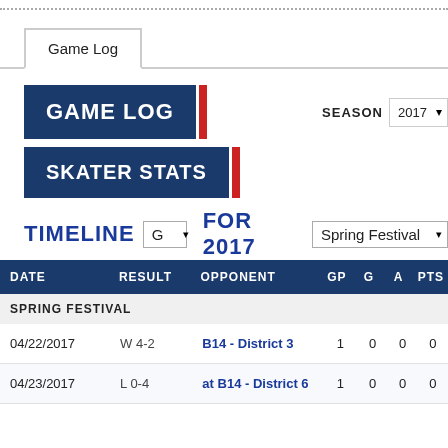Game Log
GAME LOG
SKATER STATS
TIMELINE G FOR 2017 Spring Festival
| DATE | RESULT | OPPONENT | GP | G | A | PTS |
| --- | --- | --- | --- | --- | --- | --- |
| SPRING FESTIVAL |  |  |  |  |  |  |
| 04/22/2017 | W 4-2 | B14 - District 3 | 1 | 0 | 0 | 0 |
| 04/23/2017 | L 0-4 | at B14 - District 6 | 1 | 0 | 0 | 0 |